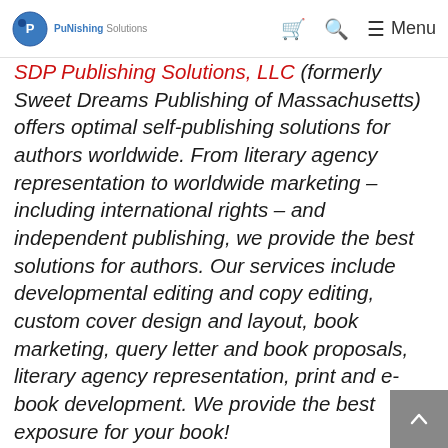PuNishing Solutions — cart, search, Menu
SDP Publishing Solutions, LLC (formerly Sweet Dreams Publishing of Massachusetts) offers optimal self-publishing solutions for authors worldwide. From literary agency representation to worldwide marketing – including international rights – and independent publishing, we provide the best solutions for authors. Our services include developmental editing and copy editing, custom cover design and layout, book marketing, query letter and book proposals, literary agency representation, print and e-book development. We provide the best exposure for your book!